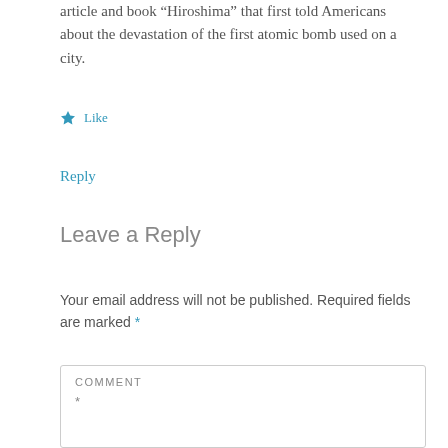article and book “Hiroshima” that first told Americans about the devastation of the first atomic bomb used on a city.
★ Like
Reply
Leave a Reply
Your email address will not be published. Required fields are marked *
COMMENT
*